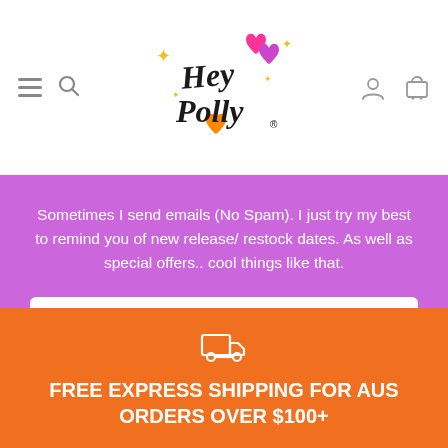[Figure (logo): Hey Polly logo with sparkles and hearts in pink, orange, and yellow on white background]
Sometimes I send emails (No Spam). I just try my best to remind you of new release/ restock dates. As well as special offers.. cool things like that.
Enter email
SIGN UP
[Figure (illustration): White truck/delivery icon]
FREE EXPRESS SHIPPING FOR AUS ORDERS OVER $100+